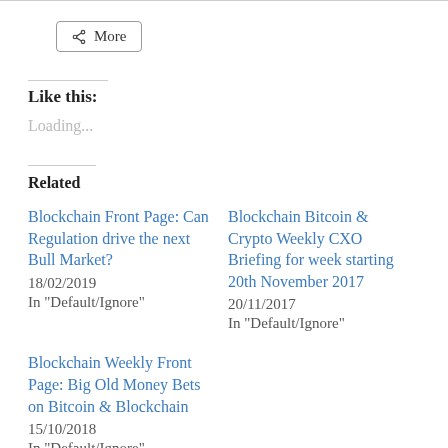More
Like this:
Loading...
Related
Blockchain Front Page: Can Regulation drive the next Bull Market?
18/02/2019
In "Default/Ignore"
Blockchain Bitcoin & Crypto Weekly CXO Briefing for week starting 20th November 2017
20/11/2017
In "Default/Ignore"
Blockchain Weekly Front Page: Big Old Money Bets on Bitcoin & Blockchain
15/10/2018
In "Default/Ignore"